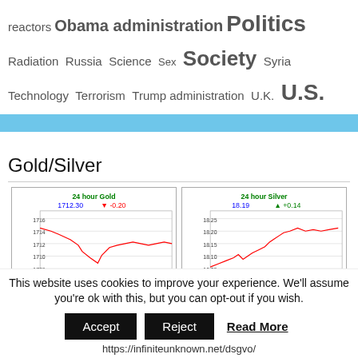reactors Obama administration Politics Radiation Russia Science Sex Society Syria Technology Terrorism Trump administration U.K. U.S.
[Figure (other): Light blue horizontal banner/divider bar]
Gold/Silver
[Figure (line-chart): 24 hour Gold chart from kitco.com showing price 1712.30 down 0.20, y-axis from ~1706 to 1716]
[Figure (line-chart): 24 hour Silver chart from kitco.com showing price 18.19 up 0.14, y-axis from ~17.95 to 18.25]
This website uses cookies to improve your experience. We'll assume you're ok with this, but you can opt-out if you wish.
Accept  Reject  Read More
https://infiniteunknown.net/dsgvo/